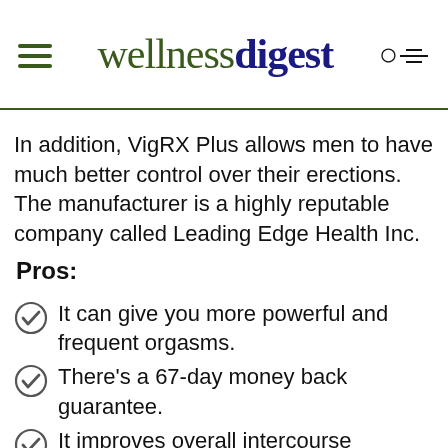wellnessdigest
In addition, VigRX Plus allows men to have much better control over their erections. The manufacturer is a highly reputable company called Leading Edge Health Inc.
Pros:
It can give you more powerful and frequent orgasms.
There's a 67-day money back guarantee.
It improves overall intercourse satisfaction.
The product can enhance partner